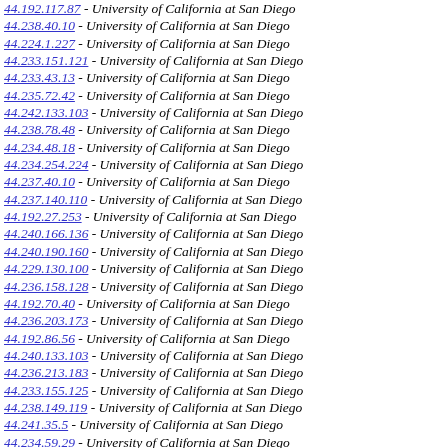44.192.117.87 - University of California at San Diego
44.238.40.10 - University of California at San Diego
44.224.1.227 - University of California at San Diego
44.233.151.121 - University of California at San Diego
44.233.43.13 - University of California at San Diego
44.235.72.42 - University of California at San Diego
44.242.133.103 - University of California at San Diego
44.238.78.48 - University of California at San Diego
44.234.48.18 - University of California at San Diego
44.234.254.224 - University of California at San Diego
44.237.40.10 - University of California at San Diego
44.237.140.110 - University of California at San Diego
44.192.27.253 - University of California at San Diego
44.240.166.136 - University of California at San Diego
44.240.190.160 - University of California at San Diego
44.229.130.100 - University of California at San Diego
44.236.158.128 - University of California at San Diego
44.192.70.40 - University of California at San Diego
44.236.203.173 - University of California at San Diego
44.192.86.56 - University of California at San Diego
44.240.133.103 - University of California at San Diego
44.236.213.183 - University of California at San Diego
44.233.155.125 - University of California at San Diego
44.238.149.119 - University of California at San Diego
44.241.35.5 - University of California at San Diego
44.234.59.29 - University of California at San Diego
44.242.174.144 - University of California at San Diego
44.232.126.96 - University of California at San Diego
44.232.87.57 - University of California at San Diego
44.230.104.74 - University of California at San Diego
44.232.239.172 - University of California at San Diego